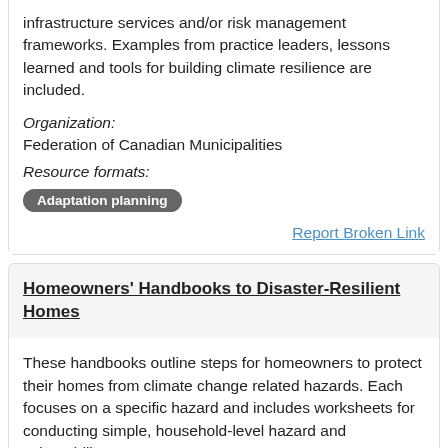infrastructure services and/or risk management frameworks. Examples from practice leaders, lessons learned and tools for building climate resilience are included.
Organization: Federation of Canadian Municipalities
Resource formats:
Adaptation planning
Report Broken Link
Homeowners' Handbooks to Disaster-Resilient Homes
These handbooks outline steps for homeowners to protect their homes from climate change related hazards. Each focuses on a specific hazard and includes worksheets for conducting simple, household-level hazard and vulnerability assessments.